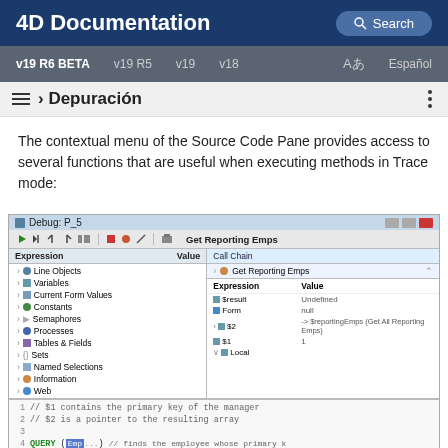4D Documentation
The contextual menu of the Source Code Pane provides access to several functions that are useful when executing methods in Trace mode:
[Figure (screenshot): Screenshot of the 4D Debug P_5 window showing the Debugger interface with Expression/Value panes on the left listing Line Objects, Variables, Current Form Values, Constants, Semaphores, Processes, Tables & Fields, Sets, Named Selections, Information, Web items, and on the right a Call Chain pane showing 'Get Reporting Emps' with Expression/Value table showing $result=Undefined, Form=null, $2=->$reportingEmps (Get All Reporting Emps), $1=1, Local. Below is a code pane showing lines 1-4 with comments and a QUERY statement.]